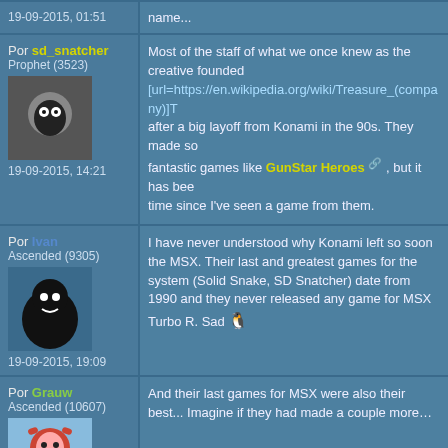Por sd_snatcher
Prophet (3523)
19-09-2015, 14:21
Most of the staff of what we once knew as the creative founded [url=https://en.wikipedia.org/wiki/Treasure_(company)]T after a big layoff from Konami in the 90s. They made so fantastic games like GunStar Heroes, but it has bee time since I've seen a game from them.
Por Ivan
Ascended (9305)
19-09-2015, 19:09
I have never understood why Konami left so soon the MSX. Their last and greatest games for the system (Solid Snake, SD Snatcher) date from 1990 and they never released any game for MSX Turbo R. Sad
Por Grauw
Ascended (10607)
19-09-2015, 22:12
And their last games for MSX were also their best... Imagine if they had made a couple more…
Por ToriHino
Ivan wrote: